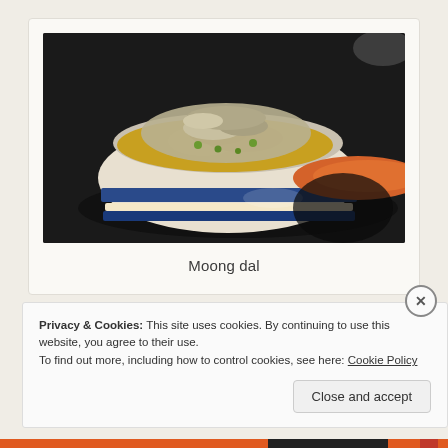[Figure (photo): A ceramic bowl with blue stripe and orange handle containing moong dal (yellow lentil dish) topped with what appears to be grated cheese or coconut, placed on a dark countertop.]
Moong dal
Privacy & Cookies: This site uses cookies. By continuing to use this website, you agree to their use.
To find out more, including how to control cookies, see here: Cookie Policy
Close and accept